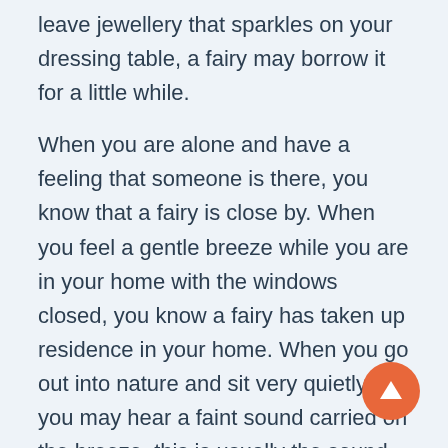leave jewellery that sparkles on your dressing table, a fairy may borrow it for a little while.
When you are alone and have a feeling that someone is there, you know that a fairy is close by. When you feel a gentle breeze while you are in your home with the windows closed, you know a fairy has taken up residence in your home. When you go out into nature and sit very quietly, you may hear a faint sound carried on the breeze, this is usually the sound of a fairy singing. Fairies live in the fairy realm so that if you catch sight of them and this image is not clear, this is because they are actually living in another reality.
Fairies love beauty and weave the most